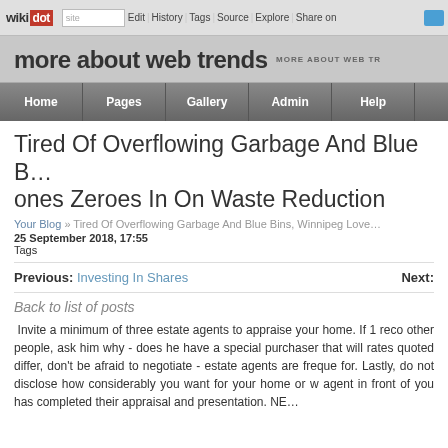wikidot | site | Edit | History | Tags | Source | Explore | Share on
more about web trends
Home | Pages | Gallery | Admin | Help
Tired Of Overflowing Garbage And Blue Bins, Winnipeg Loves ones Zeroes In On Waste Reduction
Your Blog » Tired Of Overflowing Garbage And Blue Bins, Winnipeg Love...
25 September 2018, 17:55
Tags
Previous: Investing In Shares    Next:
Back to list of posts
Invite a minimum of three estate agents to appraise your home. If 1 reco other people, ask him why - does he have a special purchaser that will rates quoted differ, don't be afraid to negotiate - estate agents are freque for. Lastly, do not disclose how considerably you want for your home or w agent in front of you has completed their appraisal and presentation. NE